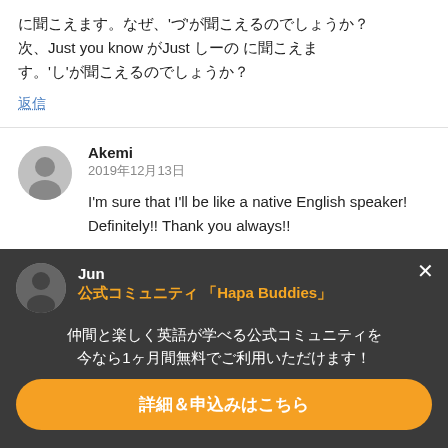に聞こえます。なぜ、'づ'が聞こえるのでしょうか？次、Just you know がJust しーの に聞こえます。'し'が聞こえるのでしょうか？
返信
Akemi
2019年12月13日
I'm sure that I'll be like a native English speaker! Definitely!! Thank you always!!
返信
Jun
公式コミュニティ 「Hapa Buddies」
仲間と楽しく英語が学べる公式コミュニティを今なら1ヶ月間無料でご利用いただけます！
詳細＆申込みはこちら
I have no doubt you will!!
返信